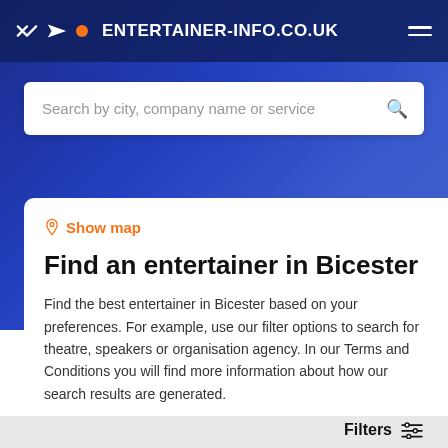ENTERTAINER-INFO.CO.UK
Search by city, company name or service
Show map
Find an entertainer in Bicester
Find the best entertainer in Bicester based on your preferences. For example, use our filter options to search for theatre, speakers or organisation agency. In our Terms and Conditions you will find more information about how our search results are generated.
Filters